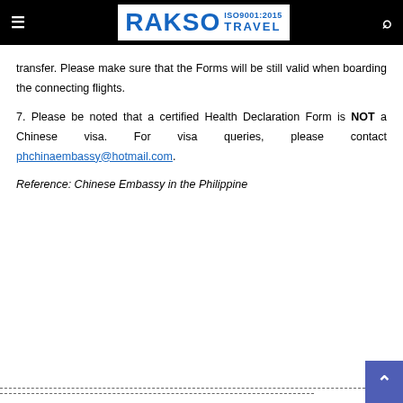RAKSO TRAVEL ISO9001:2015
transfer. Please make sure that the Forms will be still valid when boarding the connecting flights.
7. Please be noted that a certified Health Declaration Form is NOT a Chinese visa. For visa queries, please contact phchinaembassy@hotmail.com.
Reference: Chinese Embassy in the Philippine